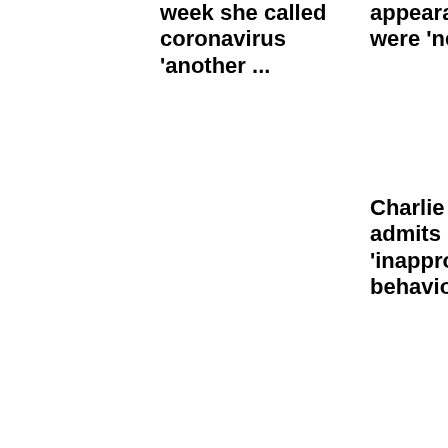week she called coronavirus 'another ...
appearance' were 'never OK'
Charlie Rose admits 'inappropriate behavior'